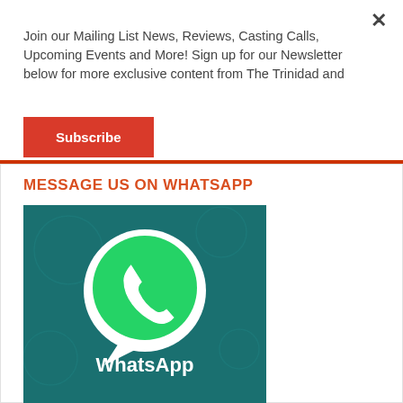Join our Mailing List News, Reviews, Casting Calls, Upcoming Events and More! Sign up for our Newsletter below for more exclusive content from The Trinidad and
Subscribe
MESSAGE US ON WHATSAPP
[Figure (logo): WhatsApp logo on teal background with green speech bubble phone icon and 'WhatsApp' text in white]